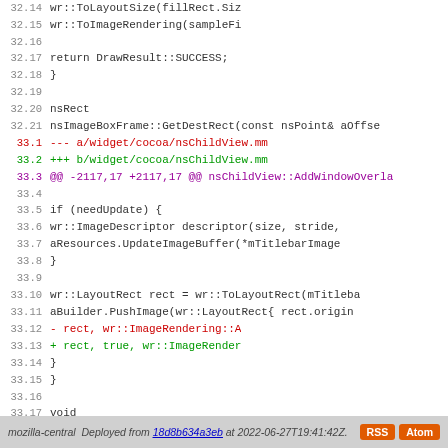[Figure (screenshot): Code diff viewer showing lines 32.14 through 33.21 of a C++ source file diff involving nsImageBoxFrame and nsChildView, with diff markers for added and removed lines.]
mozilla-central  Deployed from 18d8b634a3eb at 2022-06-27T19:41:42Z.  RSS  Atom